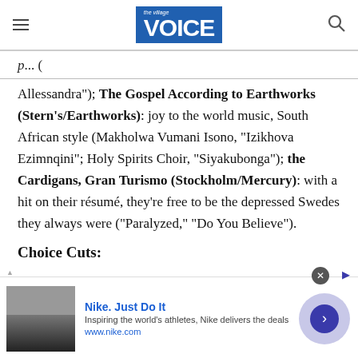the Village VOICE
p... (partially visible top line)
Allessandra"); The Gospel According to Earthworks (Stern's/Earthworks): joy to the world music, South African style (Makholwa Vumani Isono, "Izikhova Ezimnqini"; Holy Spirits Choir, "Siyakubonga"); the Cardigans, Gran Turismo (Stockholm/Mercury): with a hit on their résumé, they're free to be the depressed Swedes they always were ("Paralyzed," "Do You Believe").
Choice Cuts:
[Figure (other): Nike advertisement banner: image of shoe on left, 'Nike. Just Do It' headline in blue, 'Inspiring the world's athletes, Nike delivers the deals', 'www.nike.com', arrow button on right, close X button top right]